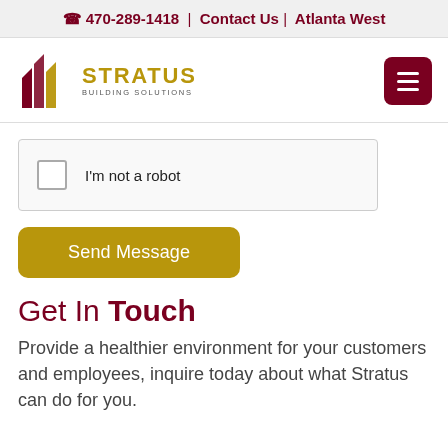📞 470-289-1418  |  Contact Us  |  Atlanta West
[Figure (logo): Stratus Building Solutions logo with stylized building icon and gold/dark-red text]
I'm not a robot
Send Message
Get In Touch
Provide a healthier environment for your customers and employees, inquire today about what Stratus can do for you.